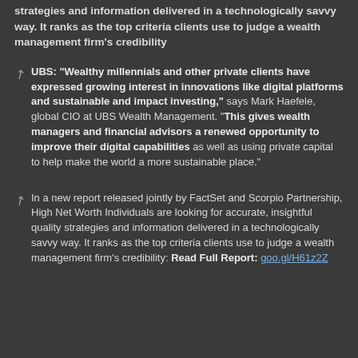strategies and information delivered in a technologically savvy way. It ranks as the top criteria clients use to judge a wealth management firm's credibility
UBS: "Wealthy millennials and other private clients have expressed growing interest in innovations like digital platforms and sustainable and impact investing," says Mark Haefele, global CIO at UBS Wealth Management. "This gives wealth managers and financial advisors a renewed opportunity to improve their digital capabilities as well as using private capital to help make the world a more sustainable place."
In a new report released jointly by FactSet and Scorpio Partnership, High Net Worth Individuals are looking for accurate, insightful quality strategies and information delivered in a technologically savvy way. It ranks as the top criteria clients use to judge a wealth management firm's credibility: Read Full Report: goo.gl/H61z2Z